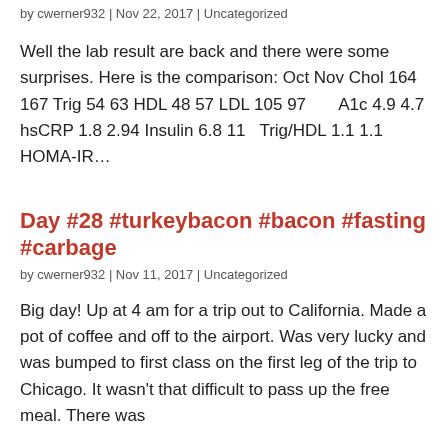by cwerner932 | Nov 22, 2017 | Uncategorized
Well the lab result are back and there were some surprises. Here is the comparison: Oct Nov Chol 164 167 Trig 54 63 HDL 48 57 LDL 105 97      A1c 4.9 4.7 hsCRP 1.8 2.94 Insulin 6.8 11  Trig/HDL 1.1 1.1      HOMA-IR…
Day #28 #turkeybacon #bacon #fasting #carbage
by cwerner932 | Nov 11, 2017 | Uncategorized
Big day! Up at 4 am for a trip out to California. Made a pot of coffee and off to the airport. Was very lucky and was bumped to first class on the first leg of the trip to Chicago. It wasn't that difficult to pass up the free meal. There was